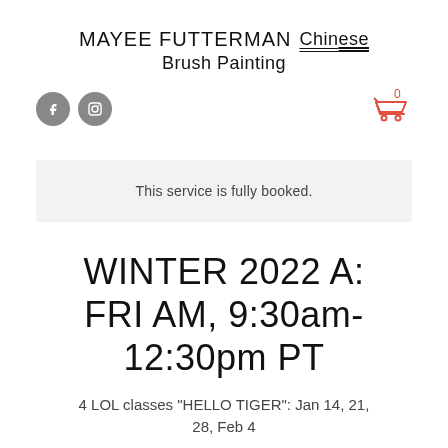MAYEE FUTTERMAN  Chinese Brush Painting
[Figure (logo): Facebook and Instagram social media icons (grey circles)]
[Figure (other): Shopping cart icon with count 0 in red/coral color]
This service is fully booked.
WINTER 2022 A: FRI AM, 9:30am-12:30pm PT
4 LOL classes "HELLO TIGER": Jan 14, 21, 28, Feb 4